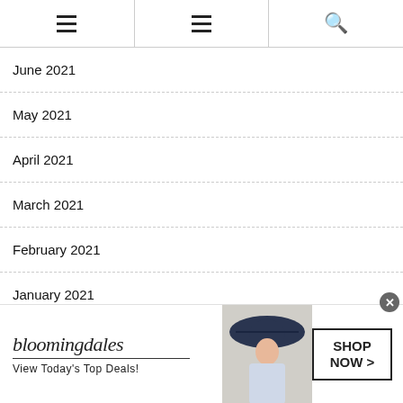Navigation header with hamburger menus and search icon
June 2021
May 2021
April 2021
March 2021
February 2021
January 2021
[Figure (infographic): Bloomingdale's advertisement banner: logo, 'View Today's Top Deals!', woman in hat, 'SHOP NOW >' button]